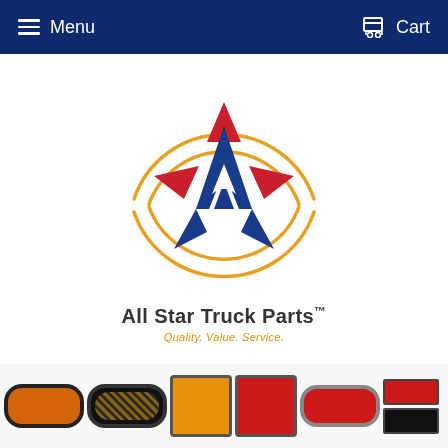Menu   Cart
[Figure (logo): All Star Truck Parts logo: stylized star/letter-A shape in red and navy blue with two concentric golden semicircular arcs above and below]
All Star Truck Parts™
Quality. Value. Service.
[Figure (photo): Row of truck lighting products including oval amber/red LED lights, square LED lights, and rectangular marker lights]